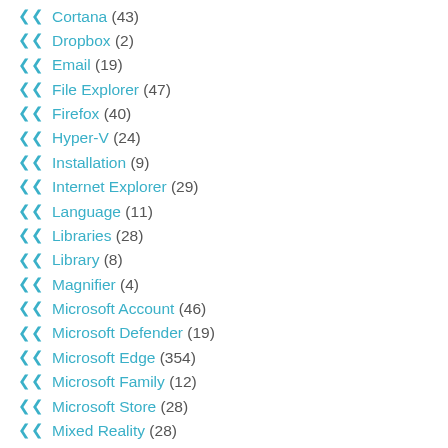Cortana (43)
Dropbox (2)
Email (19)
File Explorer (47)
Firefox (40)
Hyper-V (24)
Installation (9)
Internet Explorer (29)
Language (11)
Libraries (28)
Library (8)
Magnifier (4)
Microsoft Account (46)
Microsoft Defender (19)
Microsoft Edge (354)
Microsoft Family (12)
Microsoft Store (28)
Mixed Reality (28)
My People (3)
Narrator (47)
Network (119)
News Box (7)